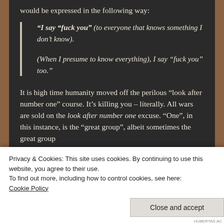would be expressed in the following way:
“I say “fuck you” (to everyone that knows something I don’t know).
(When I presume to know everything), I say “fuck you” too.”
It is high time humanity moved off the perilous “look after number one” course. It’s killing you – literally. All wars are sold on the look after number one excuse. “One”, in this instance, is the “great group”, albeit sometimes the great group
Privacy & Cookies: This site uses cookies. By continuing to use this website, you agree to their use.
To find out more, including how to control cookies, see here: Cookie Policy
Close and accept